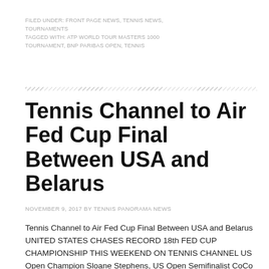FILED UNDER: FRONT PAGE NEWS, TENNIS NEWS, TOURNAMENTS
TAGGED WITH: ATP WORLD TOUR MASTERS 1000 TOURNAMENT, BNP PARIBAS OPEN, TENNIS
Tennis Channel to Air Fed Cup Final Between USA and Belarus
NOVEMBER 9, 2017 BY TENNIS PANORAMA NEWS
Tennis Channel to Air Fed Cup Final Between USA and Belarus UNITED STATES CHASES RECORD 18th FED CUP CHAMPIONSHIP THIS WEEKEND ON TENNIS CHANNEL US Open Champion Sloane Stephens, US Open Semifinalist CoCo Vandeweghe, Shelby Rogers… [Read